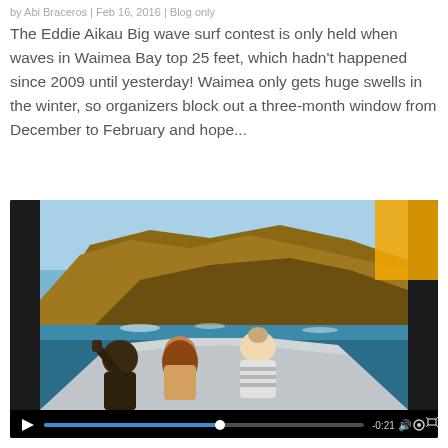by Abi Braceros | Feb 16, 2016 | Blog only
The Eddie Aikau Big wave surf contest is only held when waves in Waimea Bay top 25 feet, which hadn't happened since 2009 until yesterday! Waimea only gets huge swells in the winter, so organizers block out a three-month window from December to February and hope...
[Figure (screenshot): Embedded video player showing a GoPro-style wide-angle view from a boat approaching a rocky coastal cliff, with two people in the foreground. Video controls at the bottom show a play button, blue progress bar at about 55%, timestamp -0:21, volume, settings, and fullscreen icons.]